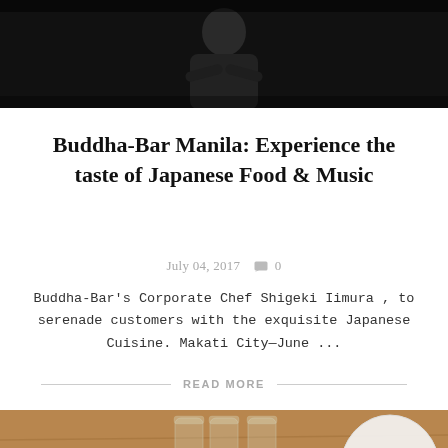[Figure (photo): A chef in dark uniform with arms crossed, dark background]
Buddha-Bar Manila: Experience the taste of Japanese Food & Music
July 04, 2017   0
Buddha-Bar's Corporate Chef Shigeki Iimura , to serenade customers with the exquisite Japanese Cuisine. Makati City—June ...
READ MORE
[Figure (photo): Small burlap bags of seeds on a wooden table: Flax Seeds, White Sesame (Unhursted), White Sesame (Roasted), with glass containers in background]